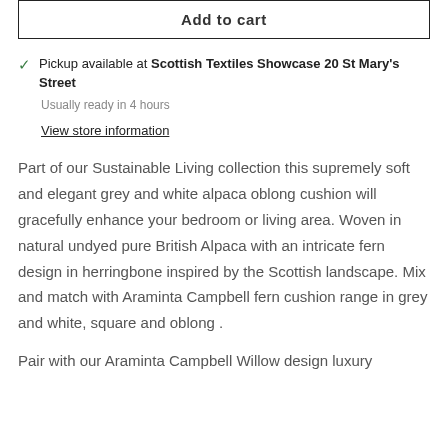Add to cart
Pickup available at Scottish Textiles Showcase 20 St Mary's Street
Usually ready in 4 hours
View store information
Part of our Sustainable Living collection this supremely soft and elegant grey and white alpaca oblong cushion will gracefully enhance your bedroom or living area. Woven in natural undyed pure British Alpaca with an intricate fern design in herringbone inspired by the Scottish landscape. Mix and match with Araminta Campbell fern cushion range in grey and white, square and oblong .
Pair with our Araminta Campbell Willow design luxury